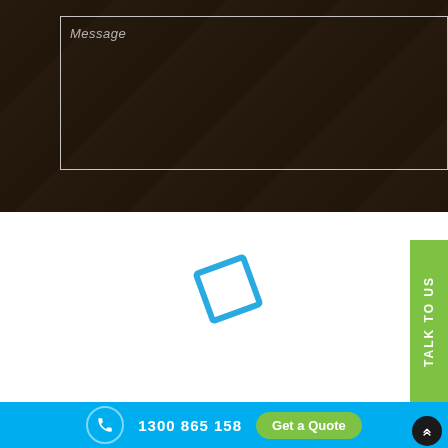[Figure (screenshot): Message text area input field with white border on dark photo background]
Message
[Figure (screenshot): SEND button, white background with black text]
SEND
[Figure (illustration): Blue rotated diamond/square outline icon on white background]
[Figure (other): Green vertical sidebar tab with TALK TO US text rotated 90 degrees]
TALK TO US
1300 865 158  Get a Quote